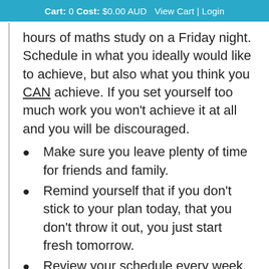Cart: 0 Cost: $0.00 AUD  View Cart | Login
hours of maths study on a Friday night. Schedule in what you ideally would like to achieve, but also what you think you CAN achieve. If you set yourself too much work you won't achieve it at all and you will be discouraged.
Make sure you leave plenty of time for friends and family.
Remind yourself that if you don't stick to your plan today, that you don't throw it out, you just start fresh tomorrow.
Review your schedule every week. If